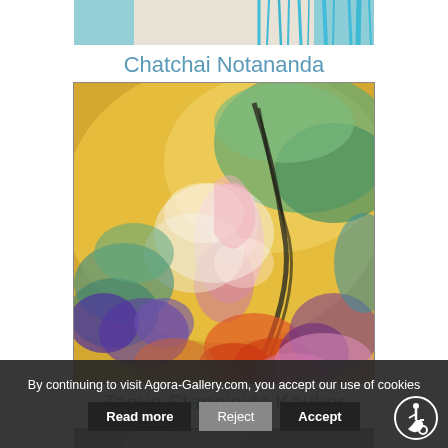[Figure (illustration): Partial top view of an abstract artwork with teal/cyan vertical drip lines on a white/cream background — cropped painting by Chatchai Notananda]
Chatchai Notananda
[Figure (illustration): Abstract painting with swirling colorful forms in yellow, green, teal, purple, pink, and red — artwork by Tanya Stanojevic Kauker]
Tanya Stanojevic Kauker
[Figure (photo): Partial bottom image of an artwork, just the top strip visible, showing abstract shapes]
By continuing to visit Agora-Gallery.com, you accept our use of cookies
Read more  Reject  Accept